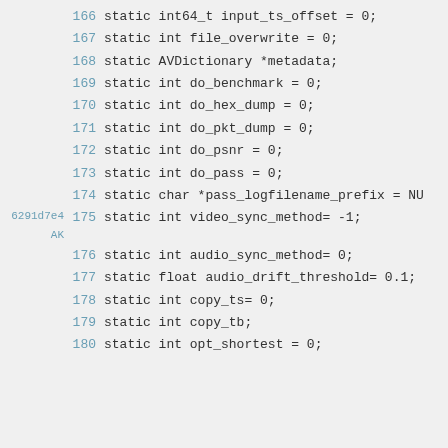166   static int64_t input_ts_offset = 0;
167   static int file_overwrite = 0;
168   static AVDictionary *metadata;
169   static int do_benchmark = 0;
170   static int do_hex_dump = 0;
171   static int do_pkt_dump = 0;
172   static int do_psnr = 0;
173   static int do_pass = 0;
174   static char *pass_logfilename_prefix = NU
6291d7e4 AK  175   static int video_sync_method= -1;
176   static int audio_sync_method= 0;
177   static float audio_drift_threshold= 0.1;
178   static int copy_ts= 0;
179   static int copy_tb;
180   static int opt_shortest = 0;